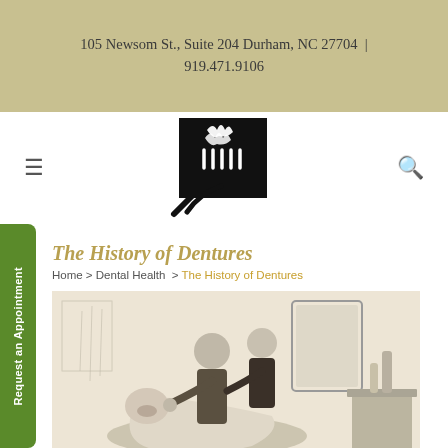105 Newsom St., Suite 204 Durham, NC 27704  |  919.471.9106
[Figure (logo): Dental clinic logo: black square with white stylized toothbrush and flame/feather design, with diagonal brushstroke below]
The History of Dentures
Home > Dental Health  >  The History of Dentures
[Figure (illustration): Victorian-era pencil sketch illustration showing a dentist and assistant treating a patient in a dental chair inside an ornate room]